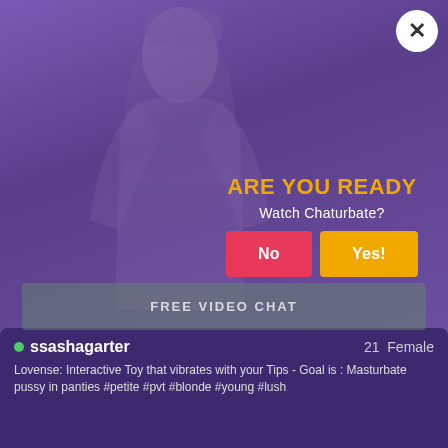[Figure (screenshot): A purple-overlaid video background showing a person with long dark hair against a bedroom background]
ARE YOU READY
Watch Chaturbate?
No
Yes!
FREE VIDEO CHAT
ssashagarter  21  Female
Lovense: Interactive Toy that vibrates with your Tips - Goal is : Masturbate pussy in panties #petite #pvt #blonde #young #lush